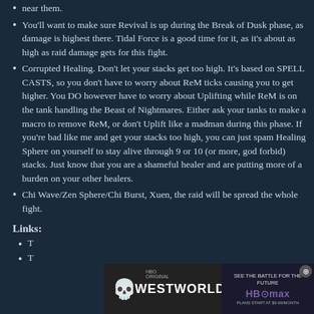near them.
You'll want to make sure Revival is up during the Break of Dusk phase, as damage is highest there. Tidal Force is a good time for it, as it's about as high as raid damage gets for this fight.
Corrupted Healing. Don't let your stacks get too high. It's based on SPELL CASTS, so you don't have to worry about ReM ticks causing you to get higher. You DO however have to worry about Uplifting while ReM is on the tank handling the Beast of Nightmares. Either ask your tanks to make a macro to remove ReM, or don't Uplift like a madman during this phase. If you're bad like me and get your stacks too high, you can just spam Healing Sphere on yourself to stay alive through 9 or 10 (or more, god forbid) stacks. Just know that you are a shameful healer and are putting more of a burden on your other healers.
Chi Wave/Zen Sphere/Chi Burst, Xuen, the raid will be spread the whole fight.
Links:
T...
T...
[Figure (screenshot): Advertisement banner for Westworld on HBO Max with skull graphic and 'SEE THE BATTLE FOR THE FUTURE' text, with a close button.]